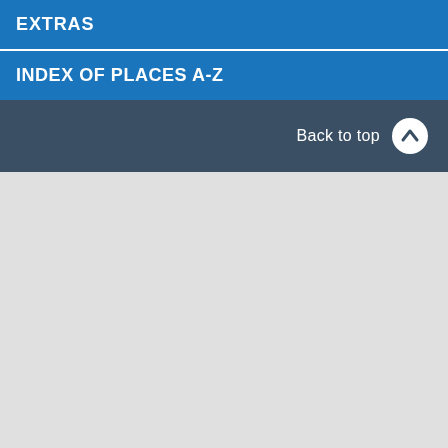EXTRAS
INDEX OF PLACES A-Z
Back to top